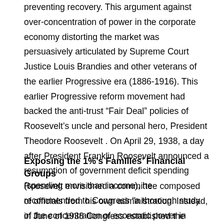preventing recovery. This argument against over-concentration of power in the corporate economy distorting the market was persuasively articulated by Supreme Court Justice Louis Brandies and other veterans of the earlier Progressive era (1886-1916). This earlier Progressive reform movement had backed the anti-trust “Fair Deal” policies of Roosevelt’s uncle and personal hero, President Theodore Roosevelt . On April 29, 1938, a day after President Franklin Roosevelt announced a resumption of government deficit spending (spending more than income), he recommended to Congress “a thorough study of the concentration of economic power in American industry” in order to curb monopolies.
Exposing the 1%’s Families’ Financial Groups
Roosevelt envisioned a committee composed of officials from his own administration. Instead, in June of 1938 Congress established the Temporary National Economic Committee (TNEC), with Democratic and Republican representatives from both the Senate and the House